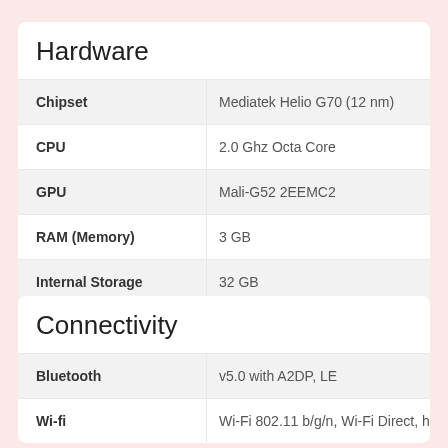| Spec | Value |
| --- | --- |
| Chipset | Mediatek Helio G70 (12 nm) |
| CPU | 2.0 Ghz Octa Core |
| GPU | Mali-G52 2EEMC2 |
| RAM (Memory) | 3 GB |
| Internal Storage | 32 GB |
| Sensors | Accelerometer, Compass, Fingerprint (rear mou... |
| Spec | Value |
| --- | --- |
| Bluetooth | v5.0 with A2DP, LE |
| Wi-Fi | Wi-Fi 802.11 b/g/n, Wi-Fi Direct, hotspot |